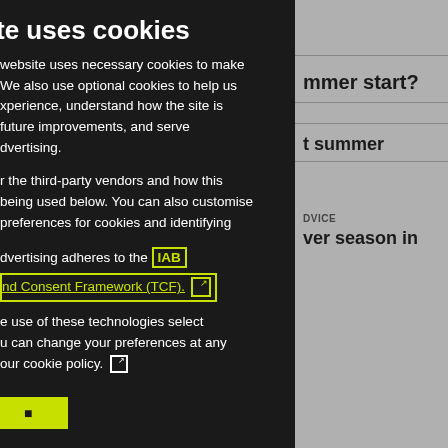te uses cookies
website uses necessary cookies to make We also use optional cookies to help us xperience, understand how the site is future improvements, and serve dvertising.
r the third-party vendors and how this being used below. You can also customise preferences for cookies and identifying
dvertising adheres to the IAB nd Consent Framework (TCF).
e use of these technologies select u can change your preferences at any our cookie policy.
mmer start?
t summer
DVICE
ver season in